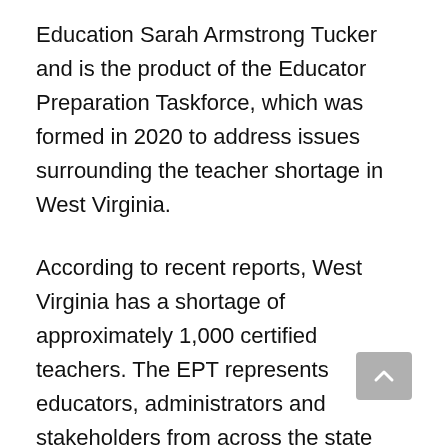Education Sarah Armstrong Tucker and is the product of the Educator Preparation Taskforce, which was formed in 2020 to address issues surrounding the teacher shortage in West Virginia.
According to recent reports, West Virginia has a shortage of approximately 1,000 certified teachers. The EPT represents educators, administrators and stakeholders from across the state and has convened over the course of several months to focus on the spectrum of issues contributing to the state's teacher shortage.